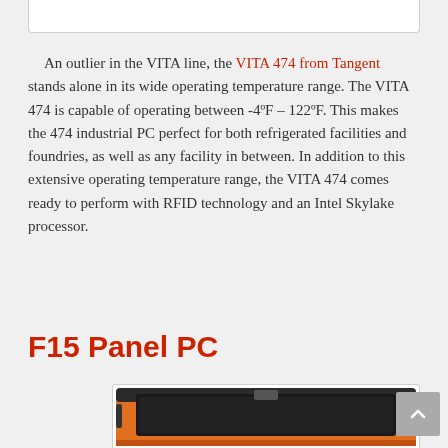[Figure (photo): Bottom portion of a previous image/figure, white box with border]
An outlier in the VITA line, the VITA 474 from Tangent stands alone in its wide operating temperature range. The VITA 474 is capable of operating between -4ºF – 122ºF. This makes the 474 industrial PC perfect for both refrigerated facilities and foundries, as well as any facility in between. In addition to this extensive operating temperature range, the VITA 474 comes ready to perform with RFID technology and an Intel Skylake processor.
F15 Panel PC
[Figure (photo): Orange industrial panel PC device (F15 Panel PC) shown partially at bottom of page]